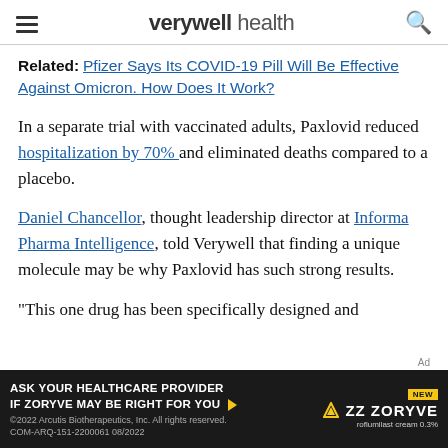verywell health
Related: Pfizer Says Its COVID-19 Pill Will Be Effective Against Omicron. How Does It Work?
In a separate trial with vaccinated adults, Paxlovid reduced hospitalization by 70% and eliminated deaths compared to a placebo.
Daniel Chancellor, thought leadership director at Informa Pharma Intelligence, told Verywell that finding a unique molecule may be why Paxlovid has such strong results.
"This one drug has been specifically designed and
[Figure (other): Advertisement banner for ZORYVE (roflumilast cream 0.3%) - dark background ad with text: ASK YOUR HEALTHCARE PROVIDER IF ZORYVE MAY BE RIGHT FOR YOU, with ZORYVE brand logo and NEW badge]